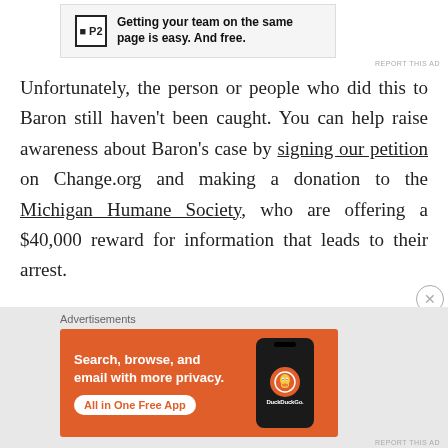[Figure (other): P2 advertisement banner: logo with 'P2' and text 'Getting your team on the same page is easy. And free.']
Unfortunately, the person or people who did this to Baron still haven't been caught. You can help raise awareness about Baron's case by signing our petition on Change.org and making a donation to the Michigan Humane Society, who are offering a $40,000 reward for information that leads to their arrest.
[Figure (other): DuckDuckGo advertisement: 'Search, browse, and email with more privacy. All in One Free App' with phone mockup showing DuckDuckGo logo.]